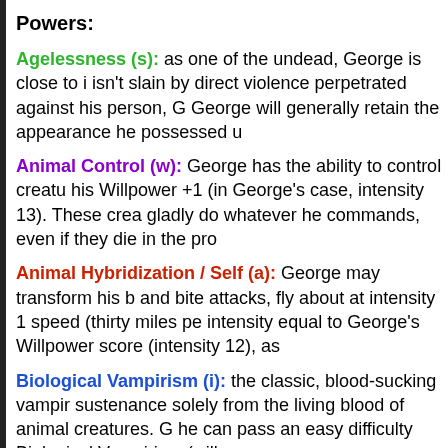Powers:
Agelessness (s): as one of the undead, George is close to i isn't slain by direct violence perpetrated against his person, G George will generally retain the appearance he possessed u
Animal Control (w): George has the ability to control creatu his Willpower +1 (in George's case, intensity 13). These crea gladly do whatever he commands, even if they die in the pro
Animal Hybridization / Self (a): George may transform his b and bite attacks, fly about at intensity 1 speed (thirty miles pe intensity equal to George's Willpower score (intensity 12), as
Biological Vampirism (i): the classic, blood-sucking vampir sustenance solely from the living blood of animal creatures. G he can pass an easy difficulty Biological Vampirism (willpowe
This assumes that George has managed to access his targe (most often with his fangs) or by clamping his mouth onto an ounces of blood, which is enough to render a normal human
Unless such a singular attack would remove all the victim's H initial attack, though this furthers the risk of killing the victim ( off the attack and gaining immunity to that vampire's draining
At any rate, George may use the drained blood to replace his of blood. George will experience a +1 to his Strength and Wi